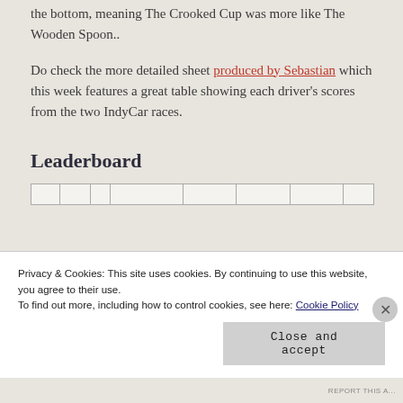the bottom, meaning The Crooked Cup was more like The Wooden Spoon..
Do check the more detailed sheet produced by Sebastian which this week features a great table showing each driver's scores from the two IndyCar races.
Leaderboard
Privacy & Cookies: This site uses cookies. By continuing to use this website, you agree to their use.
To find out more, including how to control cookies, see here: Cookie Policy